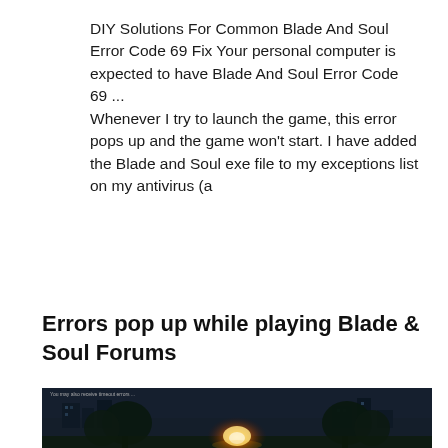DIY Solutions For Common Blade And Soul Error Code 69 Fix Your personal computer is expected to have Blade And Soul Error Code 69 ... Whenever I try to launch the game, this error pops up and the game won't start. I have added the Blade and Soul exe file to my exceptions list on my antivirus (a
Errors pop up while playing Blade & Soul Forums
[Figure (screenshot): Dark screenshot from Blade & Soul game showing a night scene with glowing fire/light in the center, dark trees on sides, and buildings in the background.]